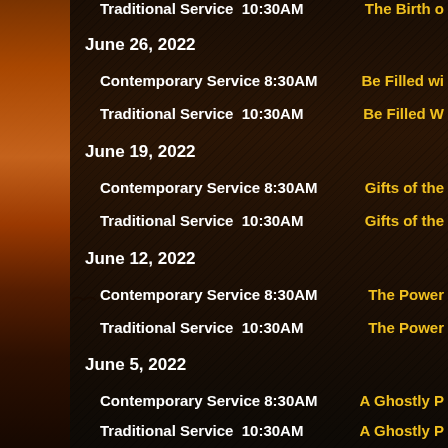Traditional Service  10:30AM | The Birth o...
June 26, 2022
Contemporary Service 8:30AM | Be Filled wi...
Traditional Service  10:30AM | Be Filled W...
June 19, 2022
Contemporary Service 8:30AM | Gifts of the...
Traditional Service  10:30AM | Gifts of the...
June 12, 2022
Contemporary Service 8:30AM | The Power...
Traditional Service  10:30AM | The Power...
June 5, 2022
Contemporary Service 8:30AM | A Ghostly P...
Traditional Service  10:30AM | A Ghostly P...
May 29, 2022
Contemporary Service 8:30AM | Does God L...
Traditional Service  10:30AM | Does God...